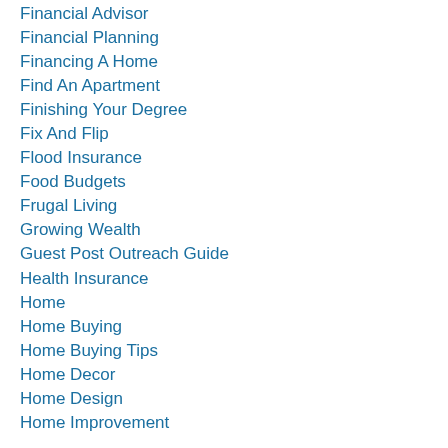Financial Advisor
Financial Planning
Financing A Home
Find An Apartment
Finishing Your Degree
Fix And Flip
Flood Insurance
Food Budgets
Frugal Living
Growing Wealth
Guest Post Outreach Guide
Health Insurance
Home
Home Buying
Home Buying Tips
Home Decor
Home Design
Home Improvement